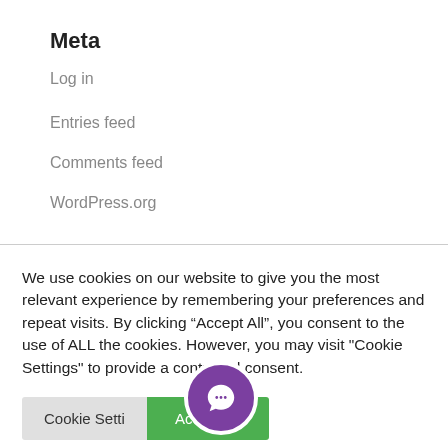Meta
Log in
Entries feed
Comments feed
WordPress.org
We use cookies on our website to give you the most relevant experience by remembering your preferences and repeat visits. By clicking “Accept All”, you consent to the use of ALL the cookies. However, you may visit "Cookie Settings" to provide a controlled consent.
[Figure (screenshot): Cookie consent dialog with 'Cookie Settings' and 'Accept All' buttons, and a purple chat bubble icon overlay]